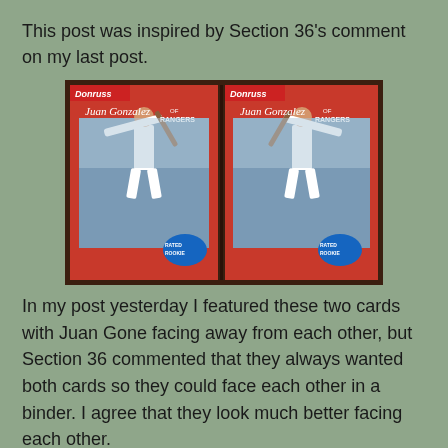This post was inspired by Section 36's comment on my last post.
[Figure (photo): Two Juan Gonzalez Donruss Rated Rookie baseball cards in plastic sleeves, placed side by side facing each other, showing a baseball player mid-swing in a white Rangers uniform, with red card borders and Rated Rookie logo at the bottom.]
In my post yesterday I featured these two cards with Juan Gone facing away from each other, but Section 36 commented that they always wanted both cards so they could face each other in a binder. I agree that they look much better facing each other.
If you collect sets, and store them in binders, what do you do with error and corrected cards? Two binder spots? Put them